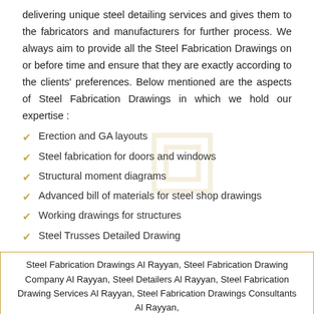delivering unique steel detailing services and gives them to the fabricators and manufacturers for further process. We always aim to provide all the Steel Fabrication Drawings on or before time and ensure that they are exactly according to the clients' preferences. Below mentioned are the aspects of Steel Fabrication Drawings in which we hold our expertise :
Erection and GA layouts
Steel fabrication for doors and windows
Structural moment diagrams
Advanced bill of materials for steel shop drawings
Working drawings for structures
Steel Trusses Detailed Drawing
Steel Fabrication Drawings Al Rayyan, Steel Fabrication Drawing Company Al Rayyan, Steel Detailers Al Rayyan, Steel Fabrication Drawing Services Al Rayyan, Steel Fabrication Drawings Consultants Al Rayyan,